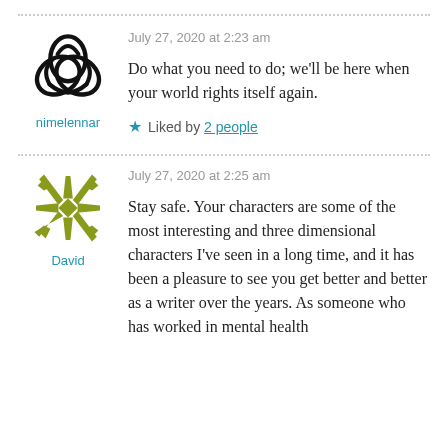July 27, 2020 at 2:23 am
Do what you need to do; we’ll be here when your world rights itself again.
Liked by 2 people
nimelennar
July 27, 2020 at 2:25 am
Stay safe. Your characters are some of the most interesting and three dimensional characters I’ve seen in a long time, and it has been a pleasure to see you get better and better as a writer over the years. As someone who has worked in mental health
David